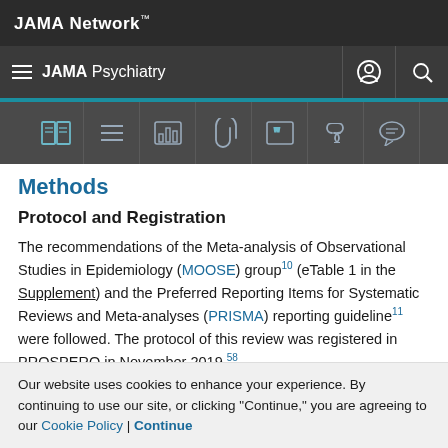JAMA Network
JAMA Psychiatry
Methods
Protocol and Registration
The recommendations of the Meta-analysis of Observational Studies in Epidemiology (MOOSE) group10 (eTable 1 in the Supplement) and the Preferred Reporting Items for Systematic Reviews and Meta-analyses (PRISMA) reporting guideline11 were followed. The protocol of this review was registered in PROSPERO in November 2019.58
Our website uses cookies to enhance your experience. By continuing to use our site, or clicking "Continue," you are agreeing to our Cookie Policy | Continue